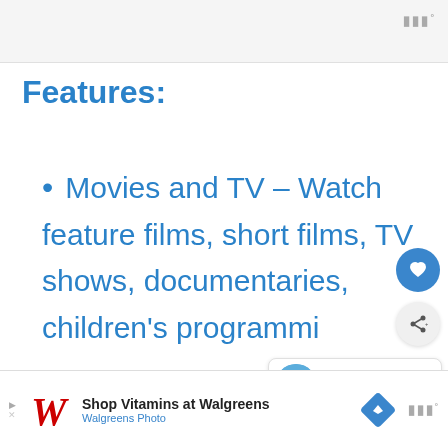Features:
Movies and TV – Watch feature films, short films, TV shows, documentaries, children's programmi…
Shop Vitamins at Walgreens — Walgreens Photo